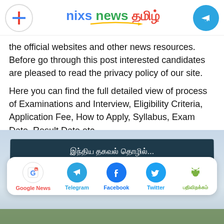nixs news தமிழ்
the official websites and other news resources. Before go through this post interested candidates are pleased to read the privacy policy of our site.
Here you can find the full detailed view of process of Examinations and Interview, Eligibility Criteria, Application Fee, How to Apply, Syllabus, Exam Date, Result Date etc,
[Figure (photo): Photo of the entrance sign board of Indian Institute of Information Technology Design and Manufacturing with Tamil script above and English text below, with share bar overlay showing Google News, Telegram, Facebook, Twitter, and Android app links]